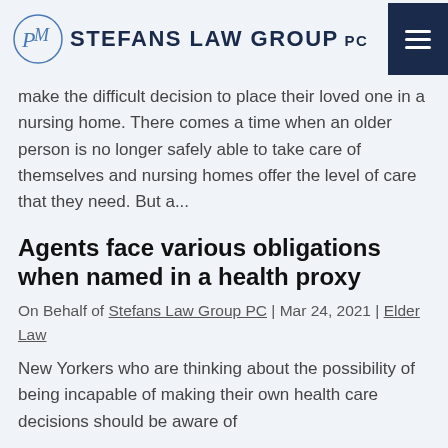[Figure (logo): Stefans Law Group PC logo with stylized PM monogram and firm name in dark navy uppercase letters]
make the difficult decision to place their loved one in a nursing home. There comes a time when an older person is no longer safely able to take care of themselves and nursing homes offer the level of care that they need. But a...
Agents face various obligations when named in a health proxy
On Behalf of Stefans Law Group PC | Mar 24, 2021 | Elder Law
New Yorkers who are thinking about the possibility of being incapable of making their own health care decisions should be aware of